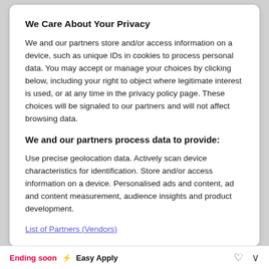We Care About Your Privacy
We and our partners store and/or access information on a device, such as unique IDs in cookies to process personal data. You may accept or manage your choices by clicking below, including your right to object where legitimate interest is used, or at any time in the privacy policy page. These choices will be signaled to our partners and will not affect browsing data.
We and our partners process data to provide:
Use precise geolocation data. Actively scan device characteristics for identification. Store and/or access information on a device. Personalised ads and content, ad and content measurement, audience insights and product development.
List of Partners (Vendors)
Customise
I Accept
Ending soon ⚡ Easy Apply